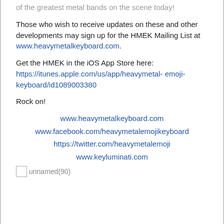of the greatest metal bands on the scene today!
Those who wish to receive updates on these and other developments may sign up for the HMEK Mailing List at www.heavymetalkeyboard.com.
Get the HMEK in the iOS App Store here: https://itunes.apple.com/us/app/heavymetal- emoji-keyboard/id1089003380
Rock on!
www.heavymetalkeyboard.com
www.facebook.com/heavymetalemojikeyboard
https://twitter.com/heavymetalemoji
www.keyluminati.com
[Figure (photo): unnamed(90) - small image placeholder]